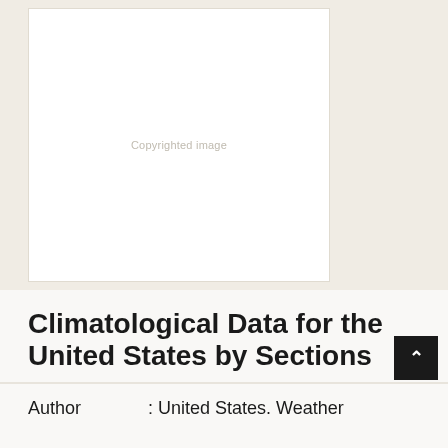[Figure (photo): Book cover image placeholder showing 'Copyrighted image' text on a white background]
Climatological Data for the United States by Sections
| Field | Value |
| --- | --- |
| Author | : United States. Weather |